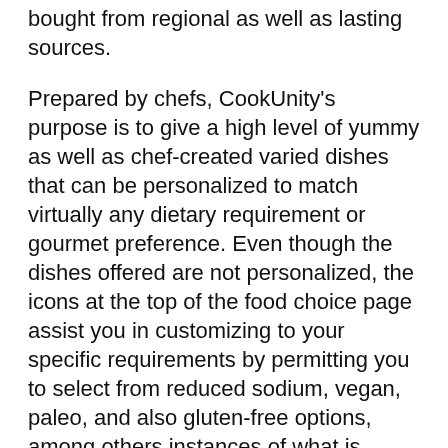bought from regional as well as lasting sources.
Prepared by chefs, CookUnity's purpose is to give a high level of yummy as well as chef-created varied dishes that can be personalized to match virtually any dietary requirement or gourmet preference. Even though the dishes offered are not personalized, the icons at the top of the food choice page assist you in customizing to your specific requirements by permitting you to select from reduced sodium, vegan, paleo, and also gluten-free options, among others instances of what is available.
Types of Food They